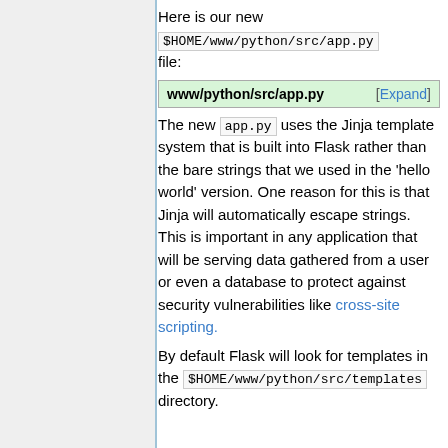Here is our new $HOME/www/python/src/app.py file:
www/python/src/app.py [Expand]
The new app.py uses the Jinja template system that is built into Flask rather than the bare strings that we used in the 'hello world' version. One reason for this is that Jinja will automatically escape strings. This is important in any application that will be serving data gathered from a user or even a database to protect against security vulnerabilities like cross-site scripting.
By default Flask will look for templates in the $HOME/www/python/src/templates directory.